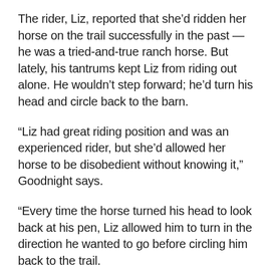The rider, Liz, reported that she'd ridden her horse on the trail successfully in the past — he was a tried-and-true ranch horse. But lately, his tantrums kept Liz from riding out alone. He wouldn't step forward; he'd turn his head and circle back to the barn.
“Liz had great riding position and was an experienced rider, but she'd allowed her horse to be disobedient without knowing it,” Goodnight says.
“Every time the horse turned his head to look back at his pen, Liz allowed him to turn in the direction he wanted to go before circling him back to the trail.